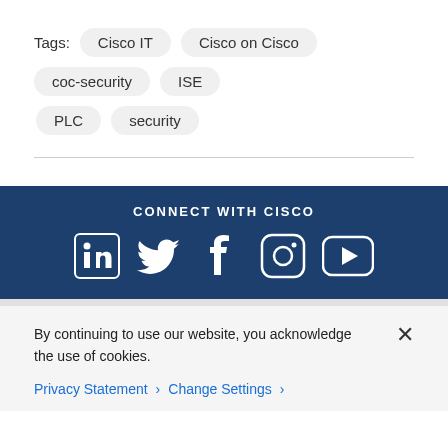Tags: Cisco IT   Cisco on Cisco   coc-security   ISE   PLC   security
CONNECT WITH CISCO
[Figure (infographic): Social media icons: LinkedIn, Twitter, Facebook, Instagram, YouTube]
By continuing to use our website, you acknowledge the use of cookies.
Privacy Statement >   Change Settings >